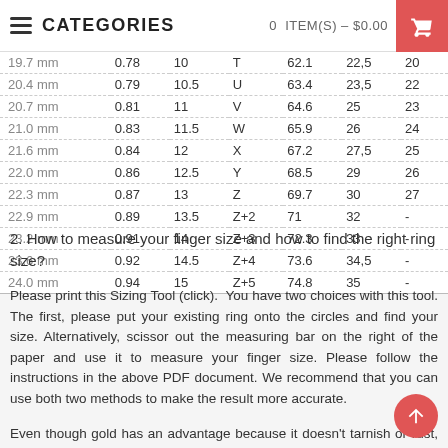CATEGORIES   0 ITEM(S) – $0.00
| mm | in | US/Canada | UK/Australia/NZ | Inside circumference mm | Inside diameter mm | EU/Asia |
| --- | --- | --- | --- | --- | --- | --- |
| 19.7 mm | 0.78 | 10 | T | 62.1 | 22,5 | 20 |
| 20.4 mm | 0.79 | 10.5 | U | 63.4 | 23,5 | 22 |
| 20.7 mm | 0.81 | 11 | V | 64.6 | 25 | 23 |
| 21.0 mm | 0.83 | 11.5 | W | 65.9 | 26 | 24 |
| 21.6 mm | 0.84 | 12 | X | 67.2 | 27,5 | 25 |
| 22.0 mm | 0.86 | 12.5 | Y | 68.5 | 29 | 26 |
| 22.3 mm | 0.87 | 13 | Z | 69.7 | 30 | 27 |
| 22.9 mm | 0.89 | 13.5 | Z+2 | 71 | 32 | - |
| 23.2 mm | 0.91 | 14 | Z+3 | 72.3 | 33 | - |
| 23.6 mm | 0.92 | 14.5 | Z+4 | 73.6 | 34,5 | - |
| 24.0 mm | 0.94 | 15 | Z+5 | 74.8 | 35 | - |
2. How to measure your finger size and how to find the right ring size?
Please print this Sizing Tool (click). You have two choices with this tool. The first, please put your existing ring onto the circles and find your size. Alternatively, scissor out the measuring bar on the right of the paper and use it to measure your finger size. Please follow the instructions in the above PDF document. We recommend that you can use both two methods to make the result more accurate.
Even though gold has an advantage because it doesn't tarnish or rust, it still needs cleaning. Harsh chemical cleaners will strip...